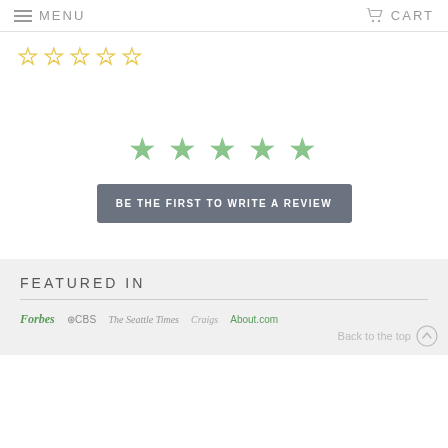MENU   CART
[Figure (illustration): Five yellow outline star rating icons]
[Figure (illustration): Five green filled star rating icons]
BE THE FIRST TO WRITE A REVIEW
FEATURED IN
[Figure (logo): Media logos: Forbes, CBS, The Seattle Times, Craigs, About.com]